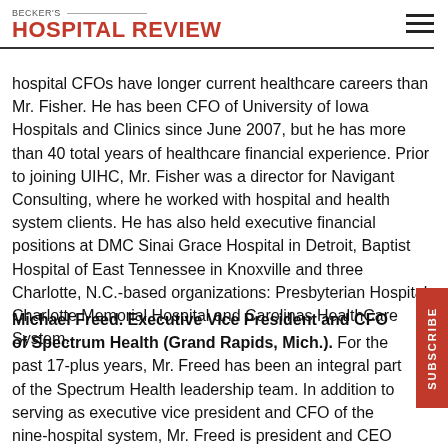BECKER'S HOSPITAL REVIEW
hospital CFOs have longer current healthcare careers than Mr. Fisher. He has been CFO of University of Iowa Hospitals and Clinics since June 2007, but he has more than 40 total years of healthcare financial experience. Prior to joining UIHC, Mr. Fisher was a director for Navigant Consulting, where he worked with hospital and health system clients. He has also held executive financial positions at DMC Sinai Grace Hospital in Detroit, Baptist Hospital of East Tennessee in Knoxville and three Charlotte, N.C.-based organizations: Presbyterian Hospital, Charlotte Memorial Hospital and Carolinas HealthCare System.
Michael Freed. Executive Vice President and CFO of Spectrum Health (Grand Rapids, Mich.). For the past 17-plus years, Mr. Freed has been an integral part of the Spectrum Health leadership team. In addition to serving as executive vice president and CFO of the nine-hospital system, Mr. Freed is president and CEO